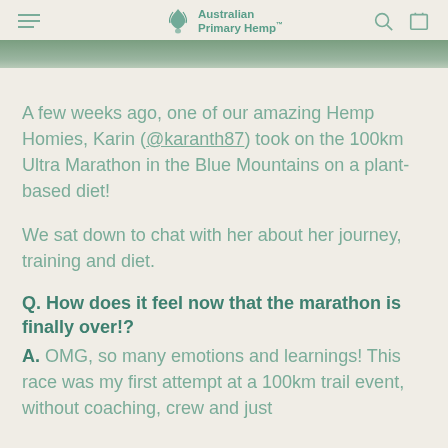Australian Primary Hemp
[Figure (photo): Partial view of a hero/banner image with green/nature tones at top of page]
A few weeks ago, one of our amazing Hemp Homies, Karin (@karanth87) took on the 100km Ultra Marathon in the Blue Mountains on a plant-based diet!
We sat down to chat with her about her journey, training and diet.
Q. How does it feel now that the marathon is finally over!?
A. OMG, so many emotions and learnings! This race was my first attempt at a 100km trail event, without coaching, crew and just